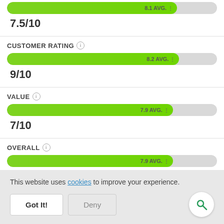[Figure (infographic): Horizontal bar showing 8.1 AVG. score, score label 7.5/10]
7.5/10
CUSTOMER RATING
[Figure (infographic): Horizontal bar showing 8.2 AVG. score]
9/10
VALUE
[Figure (infographic): Horizontal bar showing 7.9 AVG. score]
7/10
OVERALL
[Figure (infographic): Horizontal bar showing 7.9 AVG. score]
7.9/10
This website uses cookies to improve your experience.